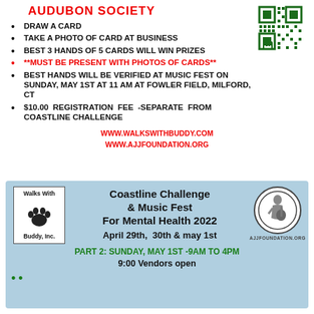AUDUBON SOCIETY
[Figure (other): QR code for event registration]
DRAW A CARD
TAKE A PHOTO OF CARD AT BUSINESS
BEST 3 HANDS OF 5 CARDS WILL WIN PRIZES
**MUST BE PRESENT WITH PHOTOS OF CARDS**
BEST HANDS WILL BE VERIFIED AT MUSIC FEST ON SUNDAY, MAY 1ST AT 11 AM AT FOWLER FIELD, MILFORD, CT
$10.00 REGISTRATION FEE -SEPARATE FROM COASTLINE CHALLENGE
WWW.WALKSWITHBUDDY.COM
WWW.AJJFOUNDATION.ORG
[Figure (logo): Walks With Buddy, Inc. logo with paw print]
Coastline Challenge & Music Fest For Mental Health 2022
April 29th, 30th & may 1st
[Figure (logo): AJJ Foundation logo - person with guitar in circle]
PART 2: SUNDAY, MAY 1ST -9AM TO 4PM
9:00 Vendors open